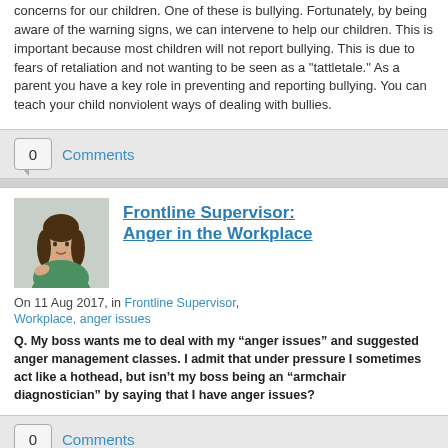concerns for our children. One of these is bullying. Fortunately, by being aware of the warning signs, we can intervene to help our children. This is important because most children will not report bullying. This is due to fears of retaliation and not wanting to be seen as a "tattletale." As a parent you have a key role in preventing and reporting bullying. You can teach your child nonviolent ways of dealing with bullies.
0 Comments
Frontline Supervisor: Anger in the Workplace
On 11 Aug 2017, in Frontline Supervisor, Workplace, anger issues
Q. My boss wants me to deal with my “anger issues” and suggested anger management classes. I admit that under pressure I sometimes act like a hothead, but isn’t my boss being an “armchair diagnostician” by saying that I have anger issues?
0 Comments